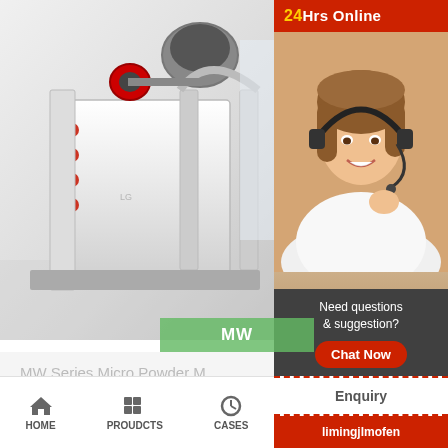[Figure (photo): Industrial machine (MW Series Micro Powder Mill) in a workshop/showroom setting, with large mechanical equipment visible]
MW
MW Series Micro Powder M
[Figure (photo): Customer service representative woman wearing a headset, smiling, with '24Hrs Online' banner above]
24Hrs Online
Need questions & suggestion?
Chat Now
Enquiry
limingjlmofen
HOME   PROUDCTS   CASES   limingjlmofen